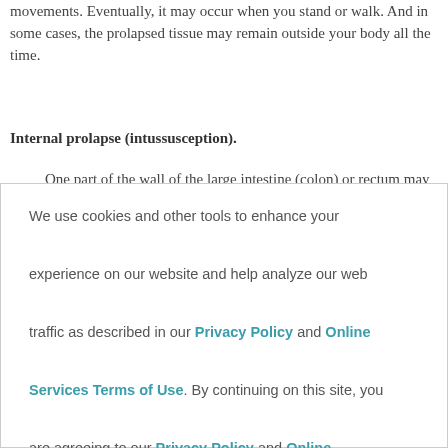movements. Eventually, it may occur when you stand or walk. And in some cases, the prolapsed tissue may remain outside your body all the time.
Internal prolapse (intussusception).
One part of the wall of the large intestine (colon) or rectum may
We use cookies and other tools to enhance your experience on our website and help analyze our web traffic as described in our Privacy Policy and Online Services Terms of Use. By continuing on this site, you are agreeing to our Privacy Policy and Online Services Terms of Use
Accept and Close